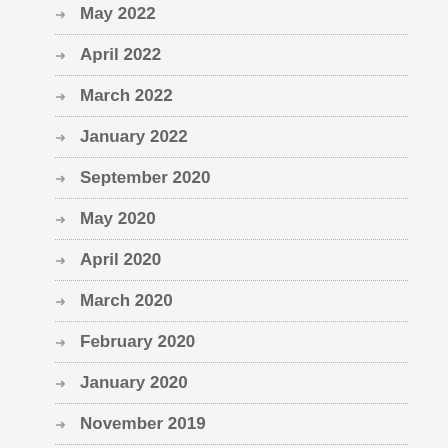May 2022
April 2022
March 2022
January 2022
September 2020
May 2020
April 2020
March 2020
February 2020
January 2020
November 2019
October 2019